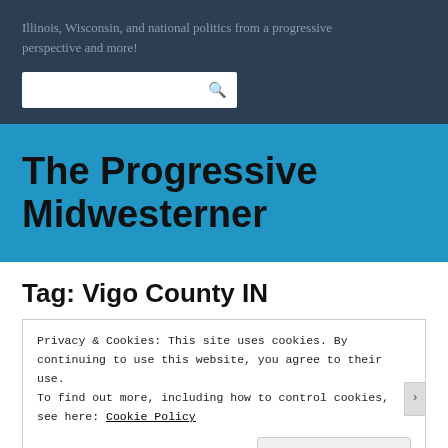Illinois, Wisconsin, and national politics from a progressive perspective and more!
[Figure (screenshot): Search input box with magnifying glass icon]
The Progressive Midwesterner
Tag: Vigo County IN
Privacy & Cookies: This site uses cookies. By continuing to use this website, you agree to their use.
To find out more, including how to control cookies, see here: Cookie Policy
Close and accept